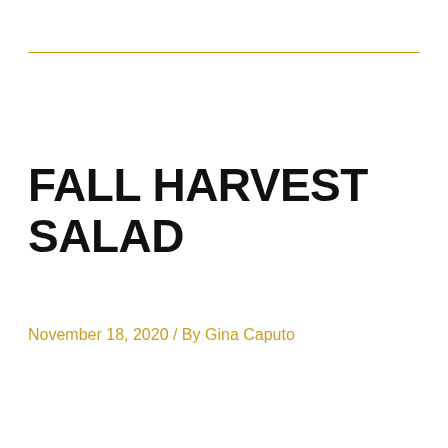FALL HARVEST SALAD
November 18, 2020 / By Gina Caputo